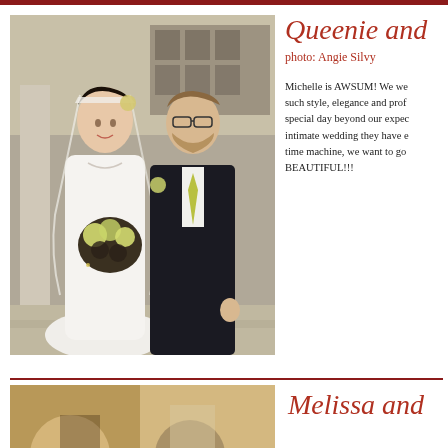[Figure (photo): Wedding couple: bride in white dress with veil holding dark and green flower bouquet, groom in dark suit with yellow tie, standing in front of a building]
Queenie and
photo: Angie Silvy
Michelle is AWSUM! We we such style, elegance and prof special day beyond our expec intimate wedding they have e time machine, we want to go BEAUTIFUL!!!
[Figure (photo): Partial view of another couple photo, outdoor setting with warm tones]
Melissa and